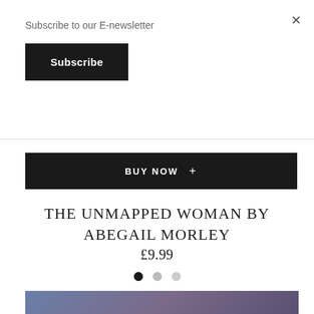×
Subscribe to our E-newsletter
Subscribe
BUY NOW +
THE UNMAPPED WOMAN BY ABEGAIL MORLEY
£9.99
[Figure (other): Three pagination dots: one dark/active, two lighter grey]
[Figure (photo): Blurred gradient image in blue-purple tones, partially visible at bottom of page]